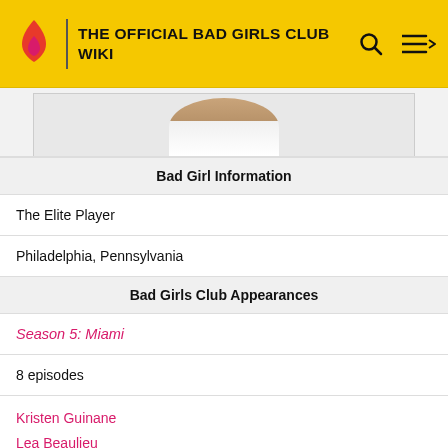THE OFFICIAL BAD GIRLS CLUB WIKI
[Figure (photo): Partial photo of a person wearing white, cropped at top, shown from mid-torso up]
| Bad Girl Information |
| The Elite Player |
| Philadelphia, Pennsylvania |
| Bad Girls Club Appearances |
| Season 5: Miami |
| 8 episodes |
| Kristen Guinane
Lea Beaulieu
Morgan Osman |
| Brandi Arceneaux |